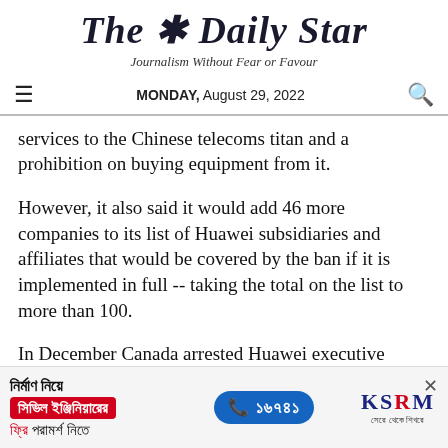The Daily Star
Journalism Without Fear or Favour
MONDAY, August 29, 2022
services to the Chinese telecoms titan and a prohibition on buying equipment from it.
However, it also said it would add 46 more companies to its list of Huawei subsidiaries and affiliates that would be covered by the ban if it is implemented in full -- taking the total on the list to more than 100.
In December Canada arrested Huawei executive
[Figure (advertisement): KSRM civil engineering consultation advertisement in Bengali with phone number 16749]